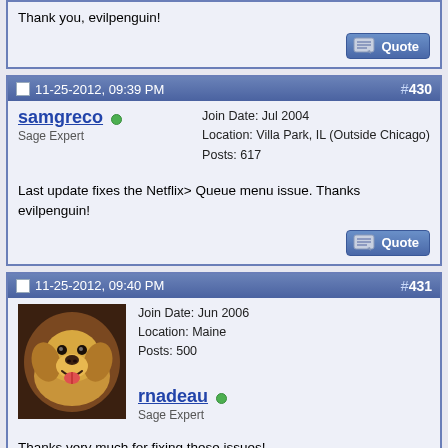Thank you, evilpenguin!
[Figure (other): Quote button]
11-25-2012, 09:39 PM  #430
samgreco
Sage Expert
Join Date: Jul 2004
Location: Villa Park, IL (Outside Chicago)
Posts: 617
Last update fixes the Netflix> Queue menu issue. Thanks evilpenguin!
[Figure (other): Quote button]
11-25-2012, 09:40 PM  #431
[Figure (photo): Profile photo of a golden/yellow Labrador dog smiling]
rnadeau
Sage Expert
Join Date: Jun 2006
Location: Maine
Posts: 500
Thanks very much for fixing these issues!
Sage Tv Server-Amd 4200FX quad core, Asus Nvidia EN610 Hdmi out , 8 Gig Ram ,(3) HVR-1800, 3.5 terrabyte storage, Windows 8 Pro on sage 9.09 system . Media Server- 6